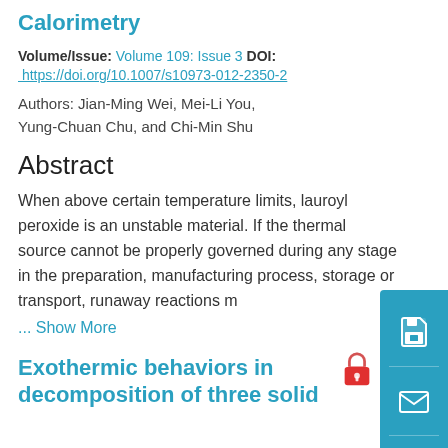Calorimetry
Volume/Issue: Volume 109: Issue 3 DOI: https://doi.org/10.1007/s10973-012-2350-2
Authors: Jian-Ming Wei, Mei-Li You, Yung-Chuan Chu, and Chi-Min Shu
Abstract
When above certain temperature limits, lauroyl peroxide is an unstable material. If the thermal source cannot be properly governed during any stage in the preparation, manufacturing process, storage or transport, runaway reactions m
... Show More
Exothermic behaviors in decomposition of three solid